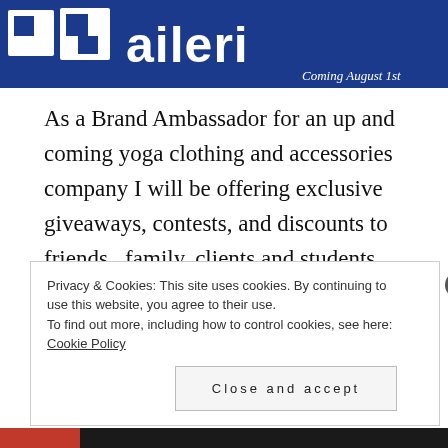[Figure (logo): Blue banner with white logo icon on left and 'aileri' brand name in large white bold text, with 'Coming August 1st' in italic white text on the right]
As a Brand Ambassador for an up and coming yoga clothing and accessories company I will be offering exclusive giveaways, contests, and discounts to friends,  family, clients and students.  Be sure to visit the LINK to check out their recent product launch!
Privacy & Cookies: This site uses cookies. By continuing to use this website, you agree to their use.
To find out more, including how to control cookies, see here: Cookie Policy
Close and accept